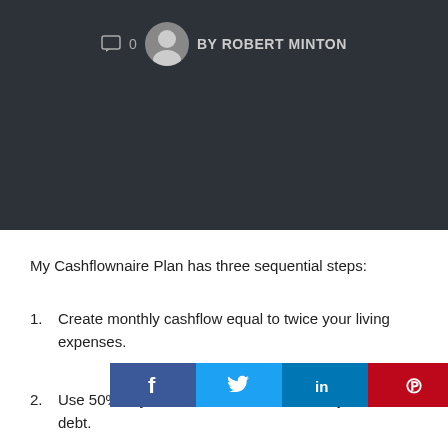0  BY ROBERT MINTON
[Figure (illustration): Dark banner image area (article hero image, mostly dark/black)]
My Cashflownaire Plan has three sequential steps:
Create monthly cashflow equal to twice your living expenses.
Use 50% of your [cashflow] to pay off all of your debt.
[Figure (infographic): Social sharing bar with Facebook (f), Twitter (bird), LinkedIn (in), and Pinterest (P) buttons]